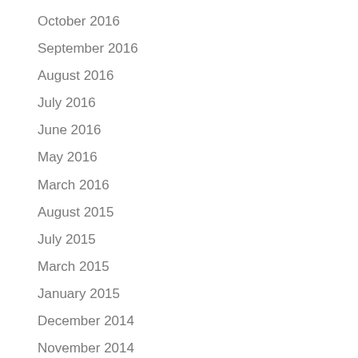October 2016
September 2016
August 2016
July 2016
June 2016
May 2016
March 2016
August 2015
July 2015
March 2015
January 2015
December 2014
November 2014
October 2014
September 2014